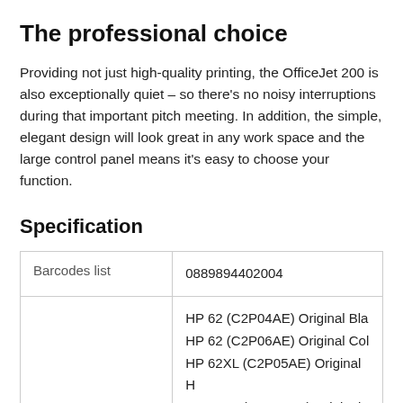The professional choice
Providing not just high-quality printing, the OfficeJet 200 is also exceptionally quiet – so there's no noisy interruptions during that important pitch meeting. In addition, the simple, elegant design will look great in any work space and the large control panel means it's easy to choose your function.
Specification
| Barcodes list | 0889894402004 |
|  | HP 62 (C2P04AE) Original Bla
HP 62 (C2P06AE) Original Col
HP 62XL (C2P05AE) Original H
HP 62XL (C2P07AE) Original C
Dynamo 62 (C2P04AE) Black |